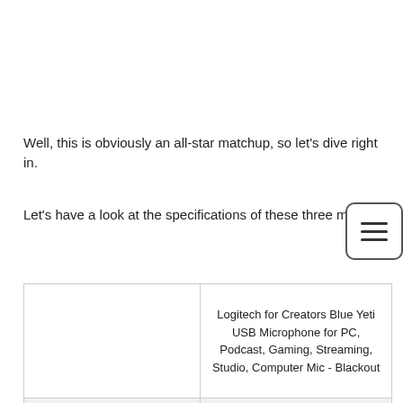Well, this is obviously an all-star matchup, so let's dive right in.
Let's have a look at the specifications of these three mics:
|  | Logitech for Creators Blue Yeti USB Microphone for PC, Podcast, Gaming, Streaming, Studio, Computer Mic - Blackout |
| --- | --- |
|  | Logitech for Creators Blue Yeti USB Microphone for PC, Podcast, Gaming, Streaming, Studio, Computer Mic - Blackout |
|  |  |